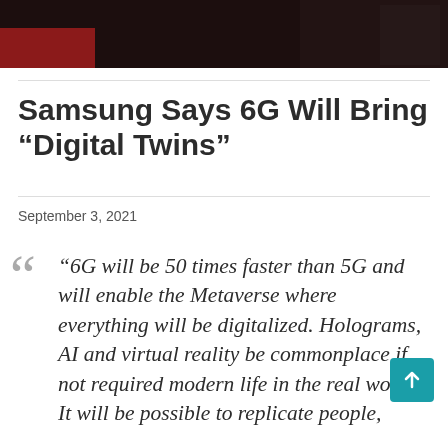[Figure (photo): Dark background image showing a scene with the word 'trouble' visible in a white text box overlay, red and dark tones, partially visible figures]
Samsung Says 6G Will Bring “Digital Twins”
September 3, 2021
“6G will be 50 times faster than 5G and will enable the Metaverse where everything will be digitalized. Holograms, AI and virtual reality be commonplace if not required modern life in the real world. It will be possible to replicate people,